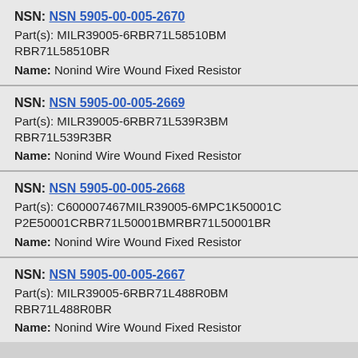NSN: NSN 5905-00-005-2670
Part(s): MILR39005-6RBR71L58510BM RBR71L58510BR
Name: Nonind Wire Wound Fixed Resistor
NSN: NSN 5905-00-005-2669
Part(s): MILR39005-6RBR71L539R3BM RBR71L539R3BR
Name: Nonind Wire Wound Fixed Resistor
NSN: NSN 5905-00-005-2668
Part(s): C600007467MILR39005-6MPC1K50001C P2E50001CRBR71L50001BMRBR71L50001BR
Name: Nonind Wire Wound Fixed Resistor
NSN: NSN 5905-00-005-2667
Part(s): MILR39005-6RBR71L488R0BM RBR71L488R0BR
Name: Nonind Wire Wound Fixed Resistor